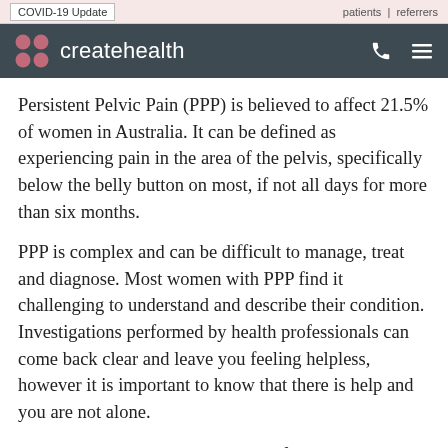COVID-19 Update   patients | referrers
[Figure (logo): createhealth logo with icon on dark teal/grey navigation bar]
Persistent Pelvic Pain (PPP) is believed to affect 21.5% of women in Australia. It can be defined as experiencing pain in the area of the pelvis, specifically below the belly button on most, if not all days for more than six months.
PPP is complex and can be difficult to manage, treat and diagnose. Most women with PPP find it challenging to understand and describe their condition. Investigations performed by health professionals can come back clear and leave you feeling helpless, however it is important to know that there is help and you are not alone.
It is understood that there are four